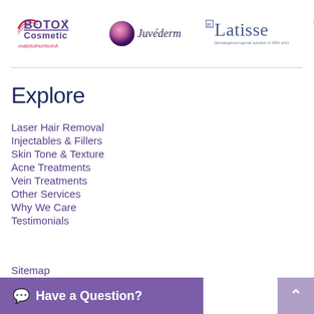[Figure (logo): Botox Cosmetic onabotulinumtoxinA logo with pink/red gradient swoosh]
[Figure (logo): Juvederm logo with pink/purple gradient sphere]
[Figure (logo): Latisse bimatoprost topical solution 0.03% w/v logo]
Explore
Laser Hair Removal
Injectables & Fillers
Skin Tone & Texture
Acne Treatments
Vein Treatments
Other Services
Why We Care
Testimonials
Sitemap
Have a Question?